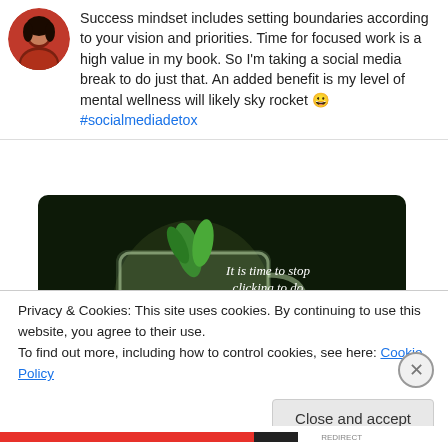Success mindset includes setting boundaries according to your vision and priorities. Time for focused work is a high value in my book. So I'm taking a social media break to do just that. An added benefit is my level of mental wellness will likely sky rocket 😀 #socialmediadetox
[Figure (photo): A glass mug with green limes and mint, with text overlay: 'It is time to stop clicking to do the social media detox.']
Privacy & Cookies: This site uses cookies. By continuing to use this website, you agree to their use. To find out more, including how to control cookies, see here: Cookie Policy